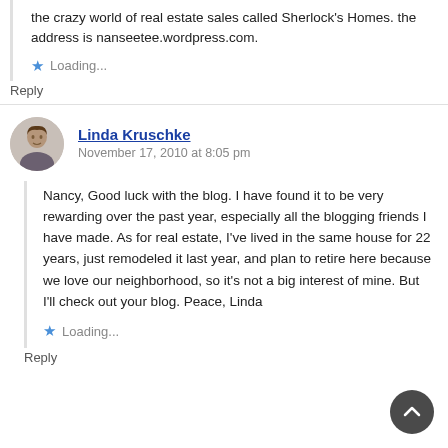the crazy world of real estate sales called Sherlock's Homes. the address is nanseetee.wordpress.com.
Loading...
Reply
Linda Kruschke
November 17, 2010 at 8:05 pm
Nancy, Good luck with the blog. I have found it to be very rewarding over the past year, especially all the blogging friends I have made. As for real estate, I've lived in the same house for 22 years, just remodeled it last year, and plan to retire here because we love our neighborhood, so it's not a big interest of mine. But I'll check out your blog. Peace, Linda
Loading...
Reply